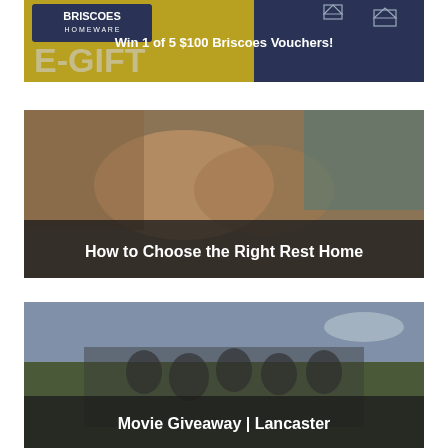[Figure (illustration): Briscoes Homeware E-Gift card promotional banner with gold/yellow and dark blue background, house illustration on right. Text: Win 1 of 5 $100 Briscoes Vouchers!]
[Figure (photo): Close-up photo of two people holding hands, one older person and one younger, suggesting care context. Dark overlay bar at bottom with white text.]
How to Choose the Right Rest Home
[Figure (photo): Black and white/sepia photo of a group of WWII-era airmen in uniform sitting and standing in a field. Dark overlay bar at bottom with white text.]
Movie Giveaway | Lancaster